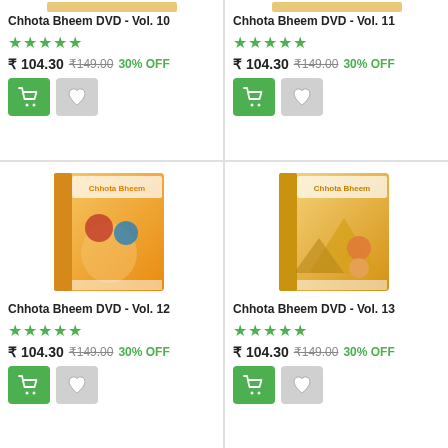[Figure (photo): Chhota Bheem DVD Vol. 10 product image (partially visible at top)]
Chhota Bheem DVD - Vol. 10
★★★★★ (5 stars)
₹ 104.30  ₹149.00  30% OFF
[Figure (photo): Chhota Bheem DVD Vol. 11 product image (partially visible at top)]
Chhota Bheem DVD - Vol. 11
★★★★★ (5 stars)
₹ 104.30  ₹149.00  30% OFF
[Figure (photo): Chhota Bheem DVD Vol. 12 product box art showing animated characters flying]
Chhota Bheem DVD - Vol. 12
★★★★★ (5 stars)
₹ 104.30  ₹149.00  30% OFF
[Figure (photo): Chhota Bheem DVD Vol. 13 product box art showing animated character near pyramids]
Chhota Bheem DVD - Vol. 13
★★★★★ (5 stars)
₹ 104.30  ₹149.00  30% OFF